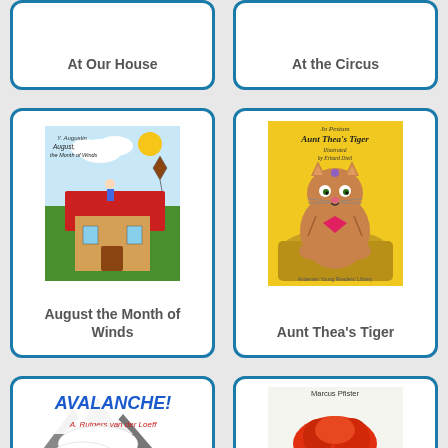At Our House
At the Circus
[Figure (illustration): Book cover of 'August the Month of Winds' showing a colorful illustrated scene with a person on a rooftop, houses, and a kite in the sky]
August the Month of Winds
[Figure (illustration): Book cover of 'Aunt Thea's Tiger' by Jo Pestum, illustrated by Erhard Dietl, showing a large fluffy cat sitting on a patterned surface with yellow background, Anderson Young Readers' Library]
Aunt Thea's Tiger
[Figure (illustration): Book cover of 'Avalanche!' by A. Rutgers van der Loeff showing title in bold blue letters with snowy mountain scene]
[Figure (illustration): Book cover by Marcus Pfister showing a red/orange creature, partially visible]